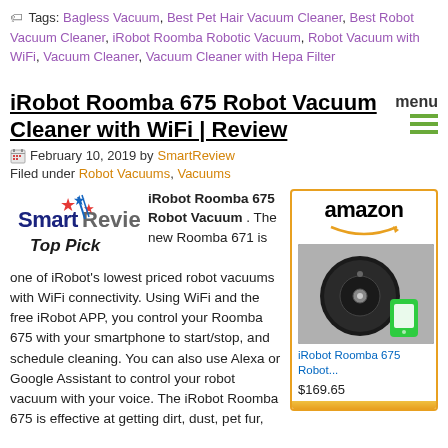Tags: Bagless Vacuum, Best Pet Hair Vacuum Cleaner, Best Robot Vacuum Cleaner, iRobot Roomba Robotic Vacuum, Robot Vacuum with WiFi, Vacuum Cleaner, Vacuum Cleaner with Hepa Filter
iRobot Roomba 675 Robot Vacuum Cleaner with WiFi | Review
February 10, 2019 by SmartReview
Filed under Robot Vacuums, Vacuums
[Figure (logo): SmartReview Top Pick logo with stars]
iRobot Roomba 675 Robot Vacuum . The new Roomba 671 is one of iRobot's lowest priced robot vacuums with WiFi connectivity. Using WiFi and the free iRobot APP, you control your Roomba 675 with your smartphone to start/stop, and schedule cleaning. You can also use Alexa or Google Assistant to control your robot vacuum with your voice. The iRobot Roomba 675 is effective at getting dirt, dust, pet fur,
[Figure (photo): Amazon product listing box showing iRobot Roomba 675 robot vacuum, price $169.65]